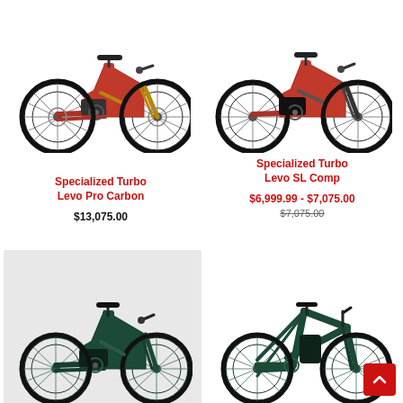[Figure (photo): Red full-suspension electric mountain bike (Specialized Turbo Levo Pro Carbon) on white background]
[Figure (photo): Red full-suspension electric mountain bike (Specialized Turbo Levo SL Comp) on white background]
Specialized Turbo Levo Pro Carbon
$13,075.00
Specialized Turbo Levo SL Comp
$6,999.99 - $7,075.00
$7,075.00
[Figure (photo): Dark green full-suspension electric mountain bike on light grey background]
[Figure (photo): Dark green hardtail electric bike on white background]